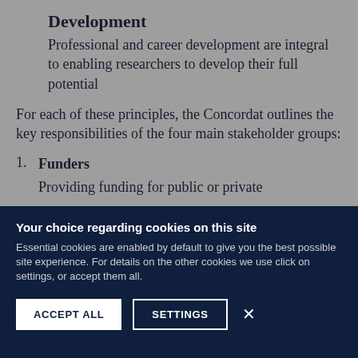Development
Professional and career development are integral to enabling researchers to develop their full potential
For each of these principles, the Concordat outlines the key responsibilities of the four main stakeholder groups:
Funders
Providing funding for public or private
Your choice regarding cookies on this site
Essential cookies are enabled by default to give you the best possible site experience. For details on the other cookies we use click on settings, or accept them all.